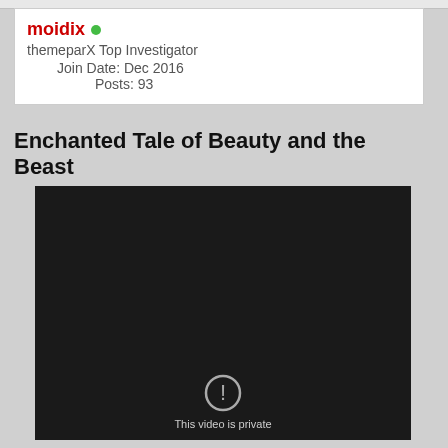moidix
themeparX Top Investigator
Join Date: Dec 2016
Posts: 93
Enchanted Tale of Beauty and the Beast
[Figure (screenshot): Dark/black video player area showing a private video message with an alert icon and partial text 'This video is private']